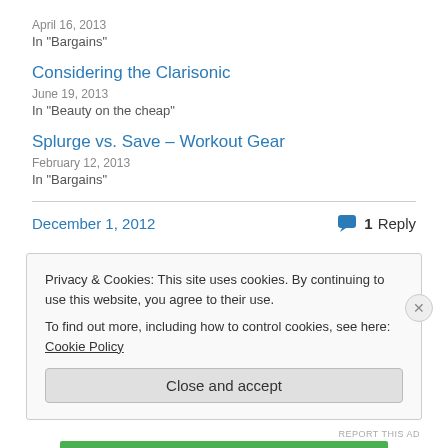April 16, 2013
In "Bargains"
Considering the Clarisonic
June 19, 2013
In "Beauty on the cheap"
Splurge vs. Save – Workout Gear
February 12, 2013
In "Bargains"
December 1, 2012
1 Reply
Privacy & Cookies: This site uses cookies. By continuing to use this website, you agree to their use.
To find out more, including how to control cookies, see here: Cookie Policy
Close and accept